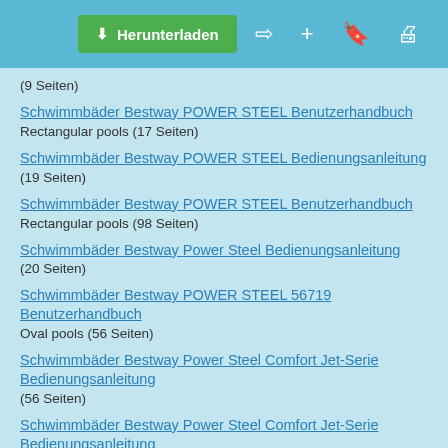Herunterladen
(9 Seiten)
Schwimmbäder Bestway POWER STEEL Benutzerhandbuch
Rectangular pools (17 Seiten)
Schwimmbäder Bestway POWER STEEL Bedienungsanleitung
(19 Seiten)
Schwimmbäder Bestway POWER STEEL Benutzerhandbuch
Rectangular pools (98 Seiten)
Schwimmbäder Bestway Power Steel Bedienungsanleitung
(20 Seiten)
Schwimmbäder Bestway POWER STEEL 56719 Benutzerhandbuch
Oval pools (56 Seiten)
Schwimmbäder Bestway Power Steel Comfort Jet-Serie Bedienungsanleitung
(56 Seiten)
Schwimmbäder Bestway Power Steel Comfort Jet-Serie Bedienungsanleitung
(20 Seiten)